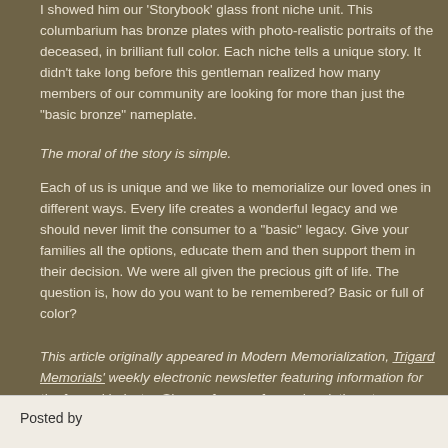I showed him our 'Storybook' glass front niche unit. This columbarium has bronze plates with photo-realistic portraits of the deceased, in brilliant full color. Each niche tells a unique story. It didn't take long before this gentleman realized how many members of our community are looking for more than just the "basic bronze" nameplate.
The moral of the story is simple.
Each of us is unique and we like to memorialize our loved ones in different ways. Every life creates a wonderful legacy and we should never limit the consumer to a "basic" legacy. Give your families all the options, educate them and then support them in their decision. We were all given the precious gift of life. The question is, how do you want to be remembered? Basic or full of color?
This article originally appeared in Modern Memorialization, Trigard Memorials' weekly electronic newsletter featuring information for the funeral industry. Sign up for your free subscription at http://www.trigard.com/thursdays.
Posted by